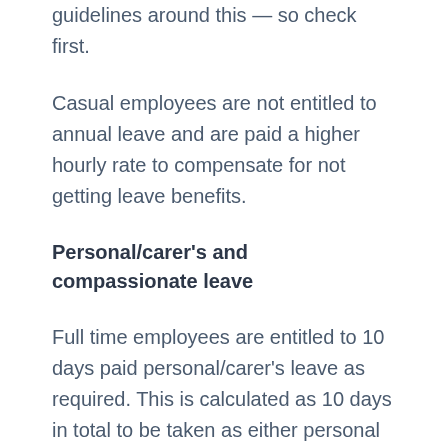guidelines around this — so check first.
Casual employees are not entitled to annual leave and are paid a higher hourly rate to compensate for not getting leave benefits.
Personal/carer's and compassionate leave
Full time employees are entitled to 10 days paid personal/carer's leave as required. This is calculated as 10 days in total to be taken as either personal or carer's leave. In addition, an extra 2 days